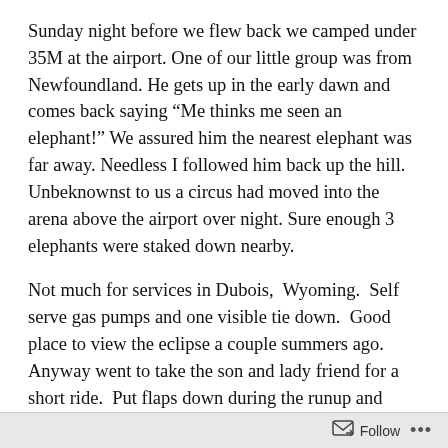Sunday night before we flew back we camped under 35M at the airport.  One of our little group was from Newfoundland.  He gets up in the early dawn and comes back saying “Me thinks me seen an elephant!”  We assured him the nearest elephant was far away.  Needless I followed him back up the hill.  Unbeknownst to us a circus had moved into the arena above the airport over night.  Sure enough 3 elephants were staked down nearby.
Not much for services in Dubois,  Wyoming.  Self serve gas pumps and one visible tie down.  Good place to view the eclipse a couple summers ago.  Anyway went to take the son and lady friend for a short ride.  Put flaps down during the runup and could only raise them half way.  Greg @ Executive Air told me to go to the local hardware store and get some tools. Called him
Follow ...